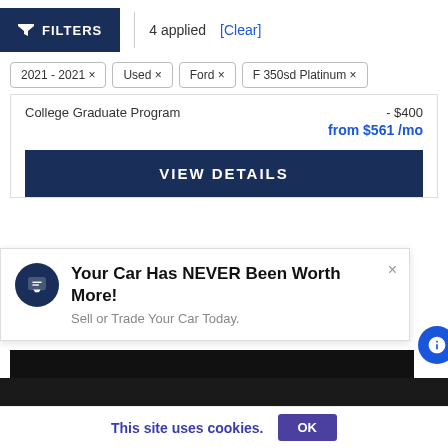FILTERS | 4 applied [Clear]
2021 - 2021 ×
Used ×
Ford ×
F 350sd Platinum ×
College Graduate Program   - $400
from $561 /mo
VIEW DETAILS
Your Car Has NEVER Been Worth More!
Sell or Trade Your Car Today.
[Figure (screenshot): THIS VEHICLE IS IN TRANSIT banner image with text: Image shown may not represent actual color or trim. Details below.]
This site uses cookies.   OK